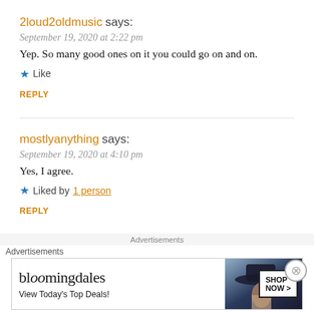2loud2oldmusic says:
September 19, 2020 at 2:22 pm
Yep. So many good ones on it you could go on and on.
Like
REPLY
mostlyanything says:
September 19, 2020 at 4:10 pm
Yes, I agree.
Liked by 1 person
REPLY
Advertisements
[Figure (screenshot): Bloomingdale's advertisement banner with text 'View Today's Top Deals!' and 'SHOP NOW >' button]